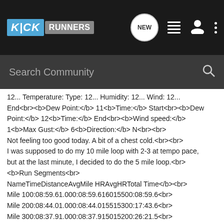[Figure (screenshot): KickRunners community website navigation bar with logo, search bar, and icons]
12... Temperature: Type: 12... Humidity: 12... Wind: 12... End<br><b>Dew Point:</b> 11<b>Time:</b> Start<br><b>Dew Point:</b> 12<b>Time:</b> End<br><b>Wind speed:</b> 1<b>Max Gust:</b> 6<b>Direction:</b> N<br><br>Not feeling too good today. A bit of a chest cold.<br><br>I was supposed to do my 10 mile loop with 2-3 at tempo pace, but at the last minute, I decided to do the 5 mile loop.<br><b>Run Segments<br>NameTimeDistanceAvgMile HRAvgHRTotal Time</b><br>Mile 100:08:59.61.000:08:59.616015500:08:59.6<br>Mile 200:08:44.01.000:08:44.015515300:17:43.6<br>Mile 300:08:37.91.000:08:37.915015200:26:21.5<br>Mile 400:09:02.51.000:09:02.514415300:35:24.0<br>Mile 500:08:30.91.000:08:30.914915400:43:54.9<br>Recovery-100:03:07.90.000:00:00.010311700:47:02.8<br>Recovery-200:02:00.10.000:00:00.010410300:49:02.9